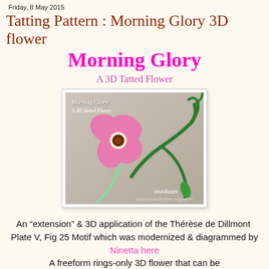Friday, 8 May 2015
Tatting Pattern : Morning Glory 3D flower
Morning Glory
A 3D Tatted Flower
[Figure (photo): Photo of a tatted Morning Glory 3D flower in pink with green stem on grey background, with text 'Morning Glory A 3D Tatted Flower' and watermark 'muskaan' and url 'www.tipsandthetme.blogspot.c']
An “extension” & 3D application of the Thérèse de Dillmont  Plate V, Fig 25 Motif which was modernized & diagrammed by Ninetta here
A freeform rings-only 3D flower that can be